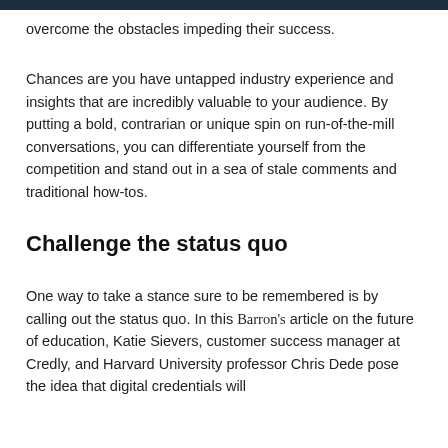overcome the obstacles impeding their success.
Chances are you have untapped industry experience and insights that are incredibly valuable to your audience. By putting a bold, contrarian or unique spin on run-of-the-mill conversations, you can differentiate yourself from the competition and stand out in a sea of stale comments and traditional how-tos.
Challenge the status quo
One way to take a stance sure to be remembered is by calling out the status quo. In this Barron's article on the future of education, Katie Sievers, customer success manager at Credly, and Harvard University professor Chris Dede pose the idea that digital credentials will